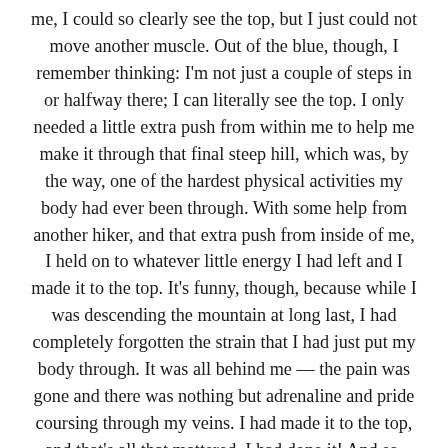me, I could so clearly see the top, but I just could not move another muscle. Out of the blue, though, I remember thinking: I'm not just a couple of steps in or halfway there; I can literally see the top. I only needed a little extra push from within me to help me make it through that final steep hill, which was, by the way, one of the hardest physical activities my body had ever been through. With some help from another hiker, and that extra push from inside of me, I held on to whatever little energy I had left and I made it to the top. It's funny, though, because while I was descending the mountain at long last, I had completely forgotten the strain that I had just put my body through. It was all behind me — the pain was gone and there was nothing but adrenaline and pride coursing through my veins. I had made it to the top, and that's all that mattered. I had done it! And so, even when things seem too tough, don't give up. All